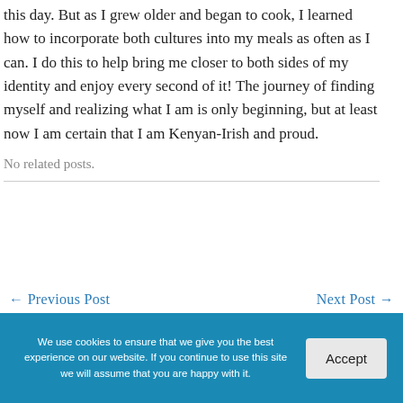this day. But as I grew older and began to cook, I learned how to incorporate both cultures into my meals as often as I can. I do this to help bring me closer to both sides of my identity and enjoy every second of it! The journey of finding myself and realizing what I am is only beginning, but at least now I am certain that I am Kenyan-Irish and proud.
No related posts.
← Previous Post
Next Post →
We use cookies to ensure that we give you the best experience on our website. If you continue to use this site we will assume that you are happy with it.